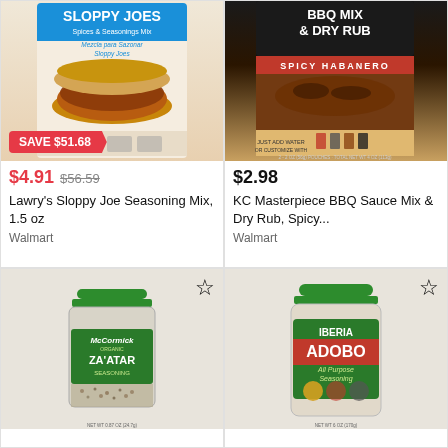[Figure (photo): Lawry's Sloppy Joes Spices & Seasonings Mix product package with food image, showing a sloppy joe sandwich. Red 'SAVE $51.68' badge overlay at bottom left.]
$4.91  $56.59
Lawry's Sloppy Joe Seasoning Mix, 1.5 oz
Walmart
[Figure (photo): KC Masterpiece BBQ Sauce Mix & Dry Rub, Spicy Habanero product package with dark background showing grilled meat.]
$2.98
KC Masterpiece BBQ Sauce Mix & Dry Rub, Spicy...
Walmart
[Figure (photo): McCormick Organic Za'atar Seasoning glass jar with green lid and brown seasoning visible inside.]
[Figure (photo): Iberia Adobo All Purpose Seasoning plastic jar with green lid and green label.]